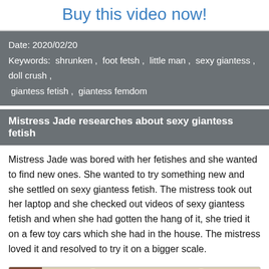Buy this video now!
Date: 2020/02/20
Keywords: shrunken , foot fetsh , little man , sexy giantess , doll crush , giantess fetish , giantess femdom
Mistress Jade researches about sexy giantess fetish
Mistress Jade was bored with her fetishes and she wanted to find new ones. She wanted to try something new and she settled on sexy giantess fetish. The mistress took out her laptop and she checked out videos of sexy giantess fetish and when she had gotten the hang of it, she tried it on a few toy cars which she had in the house. The mistress loved it and resolved to try it on a bigger scale.
[Figure (photo): Photo showing a woman with dark hair holding something, with room interior visible in background including lamps]